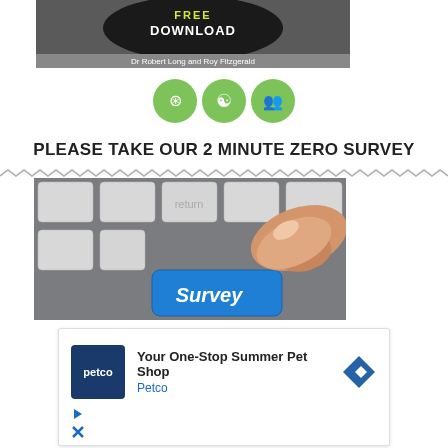[Figure (illustration): Top portion of a book or download banner showing 'FREE DOWNLOAD' text in a black circular badge with 'Dr Robert Long and Roy Fitzgerald' byline on a grey/dark bar. Only the bottom portion is visible.]
[Figure (illustration): Three green circular icons in a row: a leaf/recycle-style icon, a triquetra/trinity symbol, and a group/people icon.]
PLEASE TAKE OUR 2 MINUTE ZERO SURVEY
[Figure (photo): Close-up photo of a hand pressing a blue 'Survey' key on a keyboard, with a 'return' key visible in the background. The keyboard is dark grey.]
[Figure (screenshot): Advertisement box for Petco: 'Your One-Stop Summer Pet Shop' with Petco logo (blue square with 'petco' text) and a blue diamond arrow icon. Below are a play button icon and an X (close) icon in blue.]